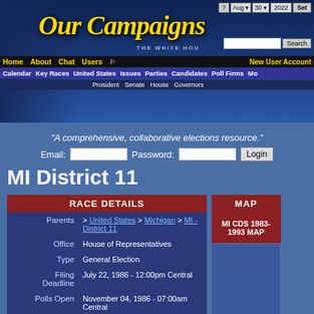Our Campaigns
"A comprehensive, collaborative elections resource."
Email: [input] Password: [input] Login
MI District 11
| RACE DETAILS |
| --- |
| Parents | > United States > Michigan > MI - District 11 |
| Office | House of Representatives |
| Type | General Election |
| Filing Deadline | July 22, 1986 - 12:00pm Central |
| Polls Open | November 04, 1986 - 07:00am Central |
| Polls Close | November 04, 1986 - 07:00pm Central |
| Term Start | January 05, 1987 - 12:00pm |
| MAP |
| --- |
| MI CDS 1983-1993 MAP |